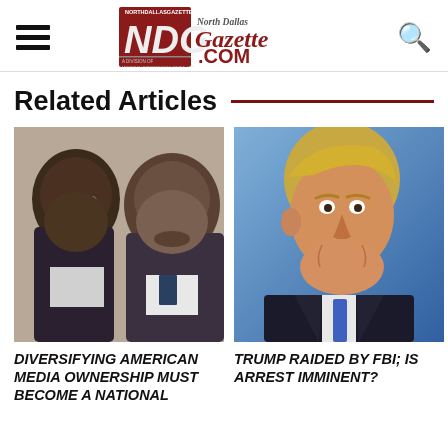NorthDallasGazette.com — NDG North Dallas Gazette .COM
Related Articles
[Figure (photo): Two Black men in suits; article thumbnail for 'Diversifying American Media Ownership Must Become a National' story]
DIVERSIFYING AMERICAN MEDIA OWNERSHIP MUST BECOME A NATIONAL
[Figure (photo): Close-up photo of Donald Trump smiling in a dark suit with blue tie; article thumbnail for 'Trump Raided by FBI; Is Arrest Imminent?' story]
TRUMP RAIDED BY FBI; IS ARREST IMMINENT?